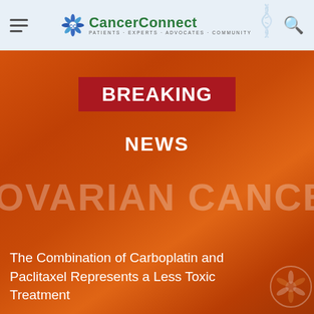CancerConnect — Patients · Experts · Advocates · Community
[Figure (screenshot): Breaking News banner on orange gradient background with 'OVARIAN CANCER NEWS' text and article title 'The Combination of Carboplatin and Paclitaxel Represents a Less Toxic Treatment']
BREAKING NEWS
OVARIAN CANCER NEWS
The Combination of Carboplatin and Paclitaxel Represents a Less Toxic Treatment